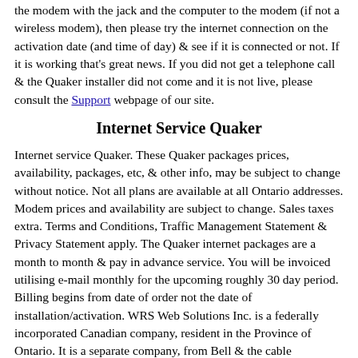the modem with the jack and the computer to the modem (if not a wireless modem), then please try the internet connection on the activation date (and time of day) & see if it is connected or not. If it is working that's great news. If you did not get a telephone call & the Quaker installer did not come and it is not live, please consult the Support webpage of our site.
Internet Service Quaker
Internet service Quaker. These Quaker packages prices, availability, packages, etc, & other info, may be subject to change without notice. Not all plans are available at all Ontario addresses. Modem prices and availability are subject to change. Sales taxes extra. Terms and Conditions, Traffic Management Statement & Privacy Statement apply. The Quaker internet packages are a month to month & pay in advance service. You will be invoiced utilising e-mail monthly for the upcoming roughly 30 day period. Billing begins from date of order not the date of installation/activation. WRS Web Solutions Inc. is a federally incorporated Canadian company, resident in the Province of Ontario. It is a separate company, from Bell & the cable companies. It pays a fee when makes us of the internet service Quaker telephone and cable internet lines.